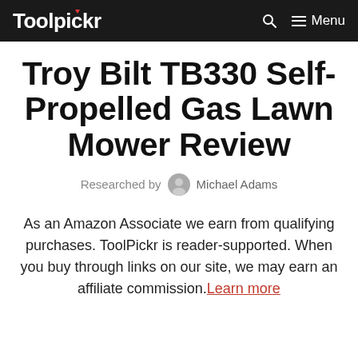Toolpickr — Menu
Troy Bilt TB330 Self-Propelled Gas Lawn Mower Review
Researched by Michael Adams
As an Amazon Associate we earn from qualifying purchases. ToolPickr is reader-supported. When you buy through links on our site, we may earn an affiliate commission. Learn more